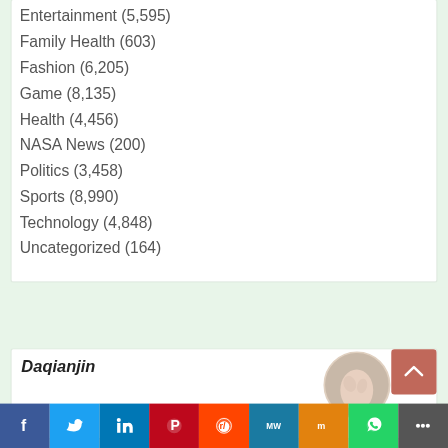Entertainment (5,595)
Family Health (603)
Fashion (6,205)
Game (8,135)
Health (4,456)
NASA News (200)
Politics (3,458)
Sports (8,990)
Technology (4,848)
Uncategorized (164)
Daqianjin
[Figure (other): Circular avatar photo showing a hand or person, partially visible]
[Figure (other): Back-to-top button, salmon/red rounded square with upward chevron arrow]
[Figure (other): Social sharing bar with icons: Facebook, Twitter, LinkedIn, Pinterest, Reddit, MeWe, Mix, WhatsApp, More]